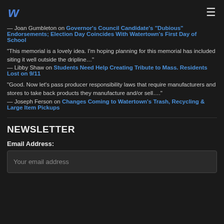W [logo] ☰
— Joan Gumbleton on Governor's Council Candidate's "Dubious" Endorsements; Election Day Coincides With Watertown's First Day of School
"This memorial is a lovely idea. I'm hoping planning for this memorial has included siting it well outside the dripline…" — Libby Shaw on Students Need Help Creating Tribute to Mass. Residents Lost on 9/11
"Good. Now let's pass producer responsibility laws that require manufacturers and stores to take back products they manufacture and/or sell…." — Joseph Ferson on Changes Coming to Watertown's Trash, Recycling & Large Item Pickups
NEWSLETTER
Email Address:
Your email address